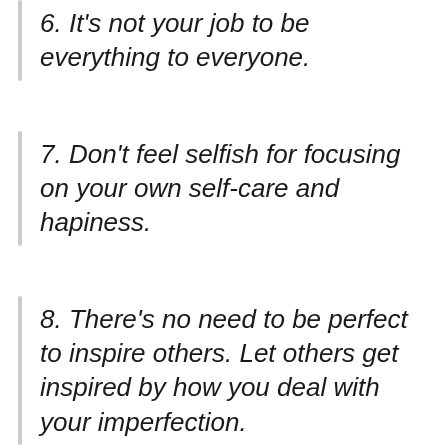6. It's not your job to be everything to everyone.
7. Don't feel selfish for focusing on your own self-care and hapiness.
8. There's no need to be perfect to inspire others. Let others get inspired by how you deal with your imperfection.